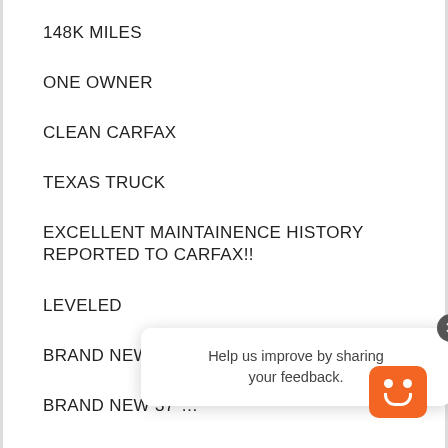148K MILES
ONE OWNER
CLEAN CARFAX
TEXAS TRUCK
EXCELLENT MAINTAINENCE HISTORY REPORTED TO CARFAX!!
LEVELED
BRAND NEW 20X10 BMF WHEELS
BRAND NEW 37"...
FRONTIER FULL REPLACEMENT BUMPER